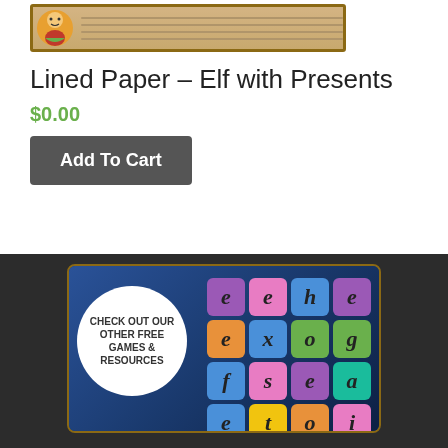[Figure (illustration): Product image of lined paper with an elf with presents graphic]
Lined Paper – Elf with Presents
$0.00
Add To Cart
[Figure (screenshot): Word game screenshot with letter tiles showing e,e,h,e,e / x,o,g,f / s,e,a,e / t,o,i,n and a speech bubble saying CHECK OUT OUR OTHER FREE GAMES & RESOURCES]